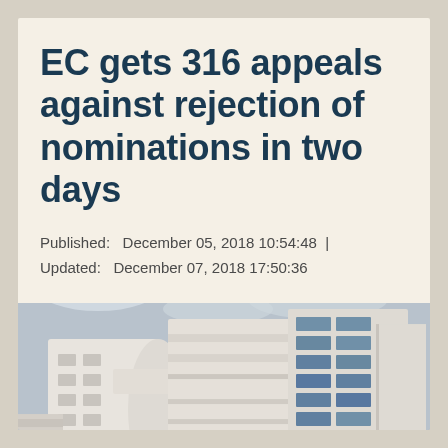EC gets 316 appeals against rejection of nominations in two days
Published:   December 05, 2018 10:54:48  |  Updated:   December 07, 2018 17:50:36
[Figure (photo): Photograph of the Bangladesh Election Commission building, a modern multi-story white building with blue glass windows and a sign in Bengali script reading 'Nirbachon Bhaban'. Sky is overcast.]